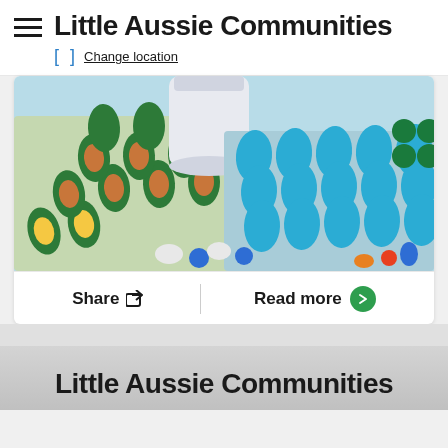Little Aussie Communities
[ ]  Change location
[Figure (photo): Close-up photo of various pharmaceutical blister packs containing colorful capsules and pills — green, blue, yellow, white and multicolored — arranged on a surface with a white pill bottle in the background.]
Share   Read more
Little Aussie Communities